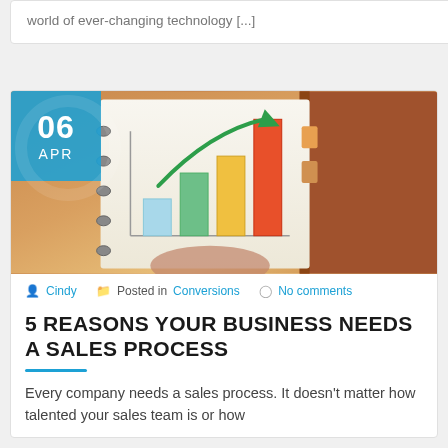world of ever-changing technology [...]
[Figure (photo): Notebook with a hand-drawn bar chart showing growing bars in blue, green, yellow, and red/orange with a green upward arrow. Date badge showing 06 APR in blue.]
Cindy  Posted in Conversions  No comments
5 REASONS YOUR BUSINESS NEEDS A SALES PROCESS
Every company needs a sales process. It doesn't matter how talented your sales team is or how